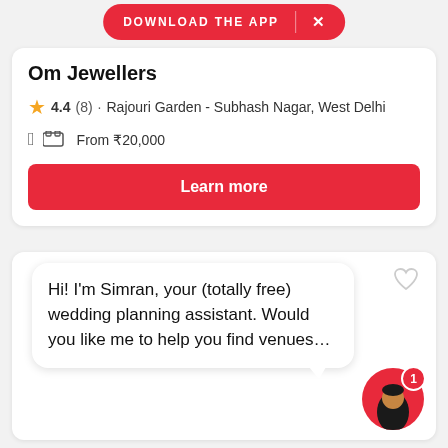DOWNLOAD THE APP  ×
Om Jewellers
★ 4.4 (8) · Rajouri Garden - Subhash Nagar, West Delhi
From ₹20,000
Learn more
[Figure (other): Second listing card with a heart/wishlist icon, mostly white space indicating a product image area]
Hi! I'm Simran, your (totally free) wedding planning assistant. Would you like me to help you find venues...